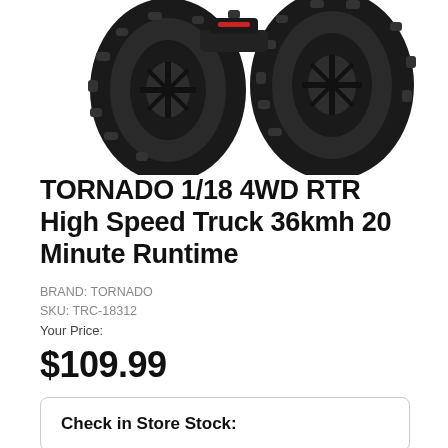[Figure (photo): Partial top view of a black RC monster truck showing two large knobby black wheels and part of the chassis body, cropped at the top of the page.]
TORNADO 1/18 4WD RTR High Speed Truck 36kmh 20 Minute Runtime
BRAND: TORNADO
SKU: TRC-18312
Your Price:
$109.99
Check in Store Stock:
Quantity
1